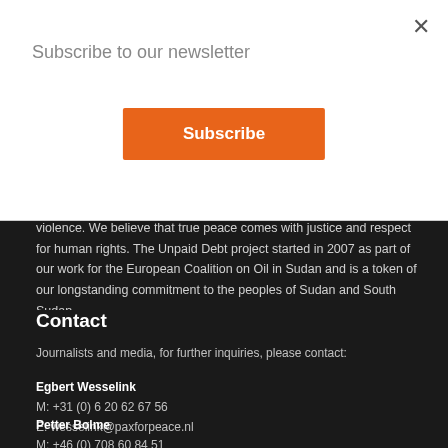Subscribe to our newsletter
Subscribe
violence. We believe that true peace comes with justice and respect for human rights. The Unpaid Debt project started in 2007 as part of our work for the European Coalition on Oil in Sudan and is a token of our longstanding commitment to the peoples of Sudan and South Sudan.
Contact
Journalists and media, for further inquiries, please contact:
Egbert Wesselink
M: +31 (0) 6 20 62 67 56
E: wesselink@paxforpeace.nl
Petter Bolme
M: +46 (0) 708 60 84 51
E: petter@globalreporting.net